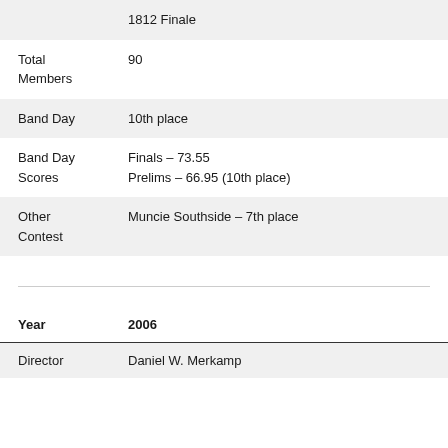|  | 1812 Finale |
| Total Members | 90 |
| Band Day | 10th place |
| Band Day Scores | Finals – 73.55
Prelims – 66.95 (10th place) |
| Other Contest | Muncie Southside – 7th place |
| Year | 2006 |
| Director | Daniel W. Merkamp |